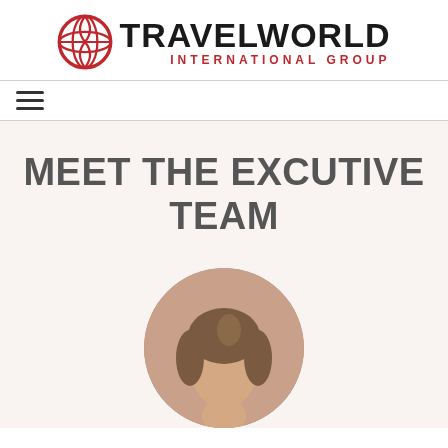[Figure (logo): Travelworld International Group logo with red globe icon and black/red text]
≡
MEET THE EXCUTIVE TEAM
[Figure (photo): Circular cropped headshot of a woman with brown hair, partially visible at bottom of page]